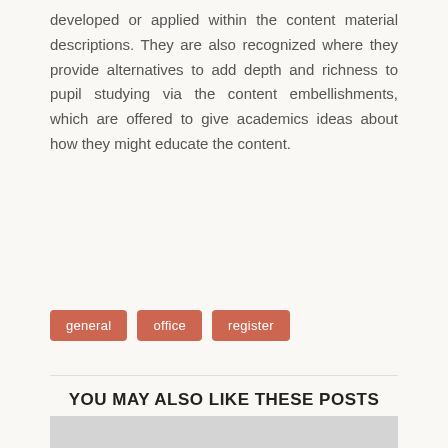developed or applied within the content material descriptions. They are also recognized where they provide alternatives to add depth and richness to pupil studying via the content embellishments, which are offered to give academics ideas about how they might educate the content.
general
office
register
YOU MAY ALSO LIKE THESE POSTS
[Figure (photo): Placeholder image with camera icon on grey background]